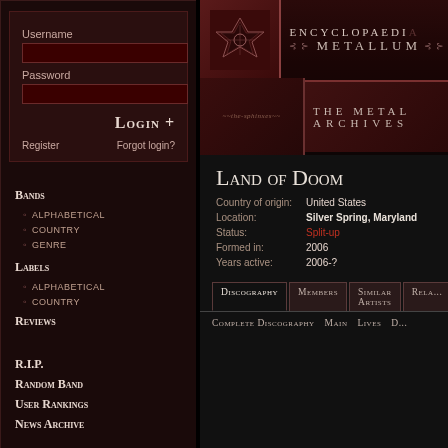Username
Password
Login +
Register
Forgot login?
Bands
Alphabetical
Country
Genre
Labels
Alphabetical
Country
Reviews
R.I.P.
Random Band
User Rankings
News Archive
[Figure (screenshot): Encyclopaedia Metallum: The Metal Archives logo banner with ornate book-style design]
Land of Doom
| Field | Value |
| --- | --- |
| Country of origin: | United States |
| Location: | Silver Spring, Maryland |
| Status: | Split-up |
| Formed in: | 2006 |
| Years active: | 2006-? |
Discography
Members
Similar Artists
Rela...
Complete discography
Main
Lives
D...